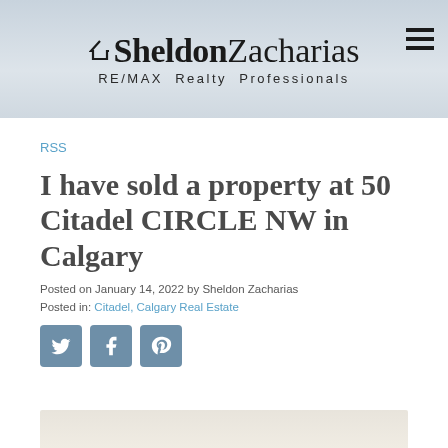[Figure (photo): Website header banner showing a kitchen/interior background with the Sheldon Zacharias RE/MAX Realty Professionals logo and hamburger menu icon]
RSS
I have sold a property at 50 Citadel CIRCLE NW in Calgary
Posted on January 14, 2022 by Sheldon Zacharias
Posted in: Citadel, Calgary Real Estate
[Figure (infographic): Social sharing buttons: Twitter, Facebook, Pinterest]
[Figure (photo): Partial property photo at bottom of page]